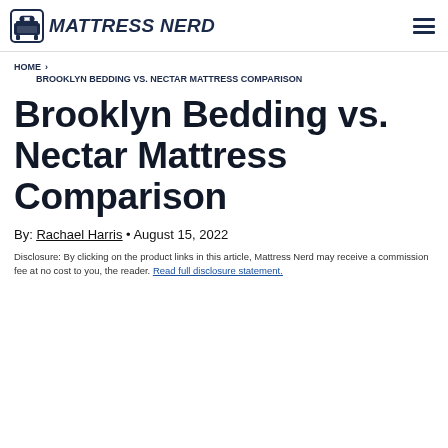Mattress Nerd
HOME › BROOKLYN BEDDING VS. NECTAR MATTRESS COMPARISON
Brooklyn Bedding vs. Nectar Mattress Comparison
By: Rachael Harris • August 15, 2022
Disclosure: By clicking on the product links in this article, Mattress Nerd may receive a commission fee at no cost to you, the reader. Read full disclosure statement.